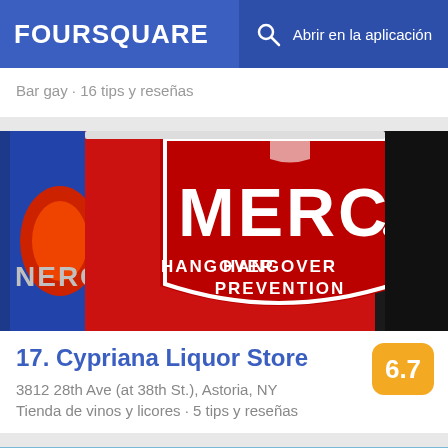FOURSQUARE  Abrir en la aplicación
Bar gay · 16 tips y reseñas
[Figure (photo): Photo of Mercy Hangover Prevention drink can next to a Red Bull energy drink can]
17. Cypriana Liquor Store
3812 28th Ave (at 38th St.), Astoria, NY
Tienda de vinos y licores · 5 tips y reseñas
[Figure (photo): Partial view of next listing photo at bottom of page]